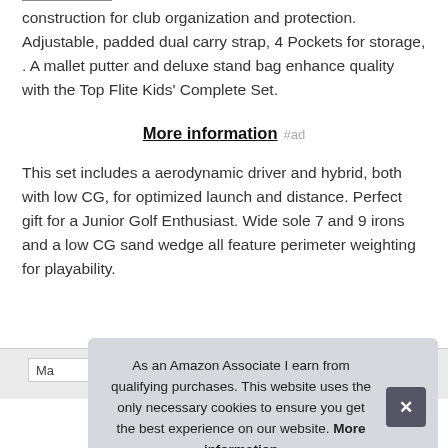construction for club organization and protection. Adjustable, padded dual carry strap, 4 Pockets for storage, . A mallet putter and deluxe stand bag enhance quality with the Top Flite Kids' Complete Set.
More information #ad
This set includes a aerodynamic driver and hybrid, both with low CG, for optimized launch and distance. Perfect gift for a Junior Golf Enthusiast. Wide sole 7 and 9 irons and a low CG sand wedge all feature perimeter weighting for playability.
As an Amazon Associate I earn from qualifying purchases. This website uses the only necessary cookies to ensure you get the best experience on our website. More information